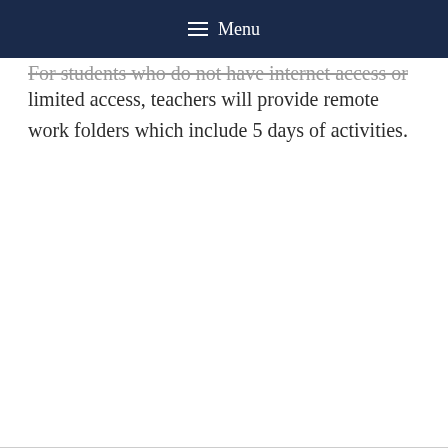Menu
For students who do not have internet access or limited access, teachers will provide remote work folders which include 5 days of activities.